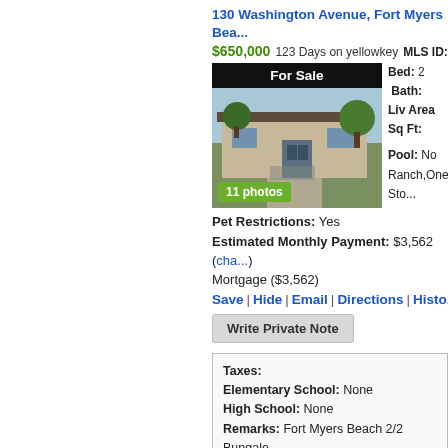130 Washington Avenue, Fort Myers Bea...
$650,000  123 Days on yellowkey  MLS ID:
[Figure (photo): House photo showing a single-story ranch bungalow with 'For Sale' banner and photo count overlay '11 photos']
Bed: 2  Bath:  Liv Area Sq Ft:
Pool: No Ranch,One Sto...
Pet Restrictions: Yes
Estimated Monthly Payment: $3,562 (cha... Mortgage ($3,562)
Save | Hide | Email | Directions | Histo...
Write Private Note
Taxes:
Elementary School: None
High School: None
Remarks: Fort Myers Beach 2/2 Bungalo... Roof in 2015. Fenced yard with a shed. Lo... the beach (5 min) walk. Beach Access #2... Seller is Motivated!
Listing is courtesy of: Sun Country Rea...